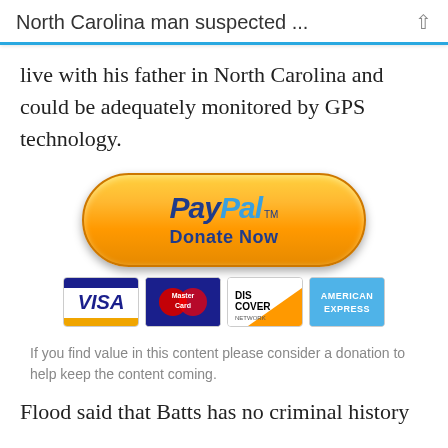North Carolina man suspected ...
live with his father in North Carolina and could be adequately monitored by GPS technology.
[Figure (other): PayPal Donate Now button with orange gradient rounded rectangle, displaying PayPal logo and 'Donate Now' text, with VISA, MasterCard, Discover, and American Express card logos below]
If you find value in this content please consider a donation to help keep the content coming.
Flood said that Batts has no criminal history